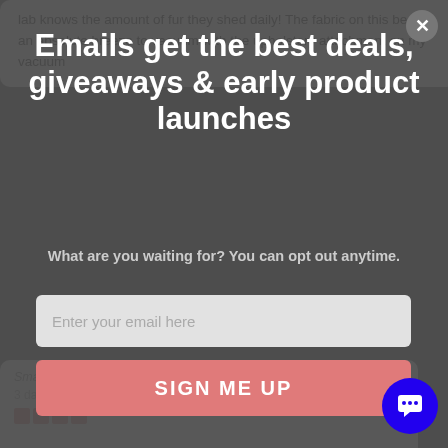lab knows the amount of fur they shed daily! The fabric on this bed is an absolute breeze to vacuum with the upholstery attachment on my vacuum
[Figure (screenshot): Modal popup overlay on a website with dark semi-transparent background]
Emails get the best deals, giveaways & early product launches
What are you waiting for? You can opt out anytime.
Enter your email here
SIGN ME UP
Small Barney Bed (S)
3 days ago